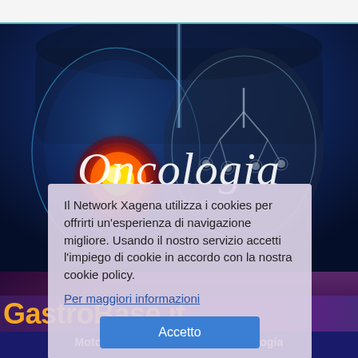[Figure (screenshot): Top navigation bar with site logo on light gray background with teal bottom border]
[Figure (photo): Medical illustration of human lungs with X-ray blue glow style background. Left lung shows a glowing tumor (orange/yellow/red), right lung shows normal lung tissue in gray/white. Background is dark blue gradient.]
Oncologia
www.oncologiamedica.net
Il Network Xagena utilizza i cookies per offrirti un'esperienza di navigazione migliore. Usando il nostro servizio accetti l'impiego di cookie in accordo con la nostra cookie policy.
Per maggiori informazioni
Accetto
GastroBase.it
Motore di ricerca in Gastroenterologia